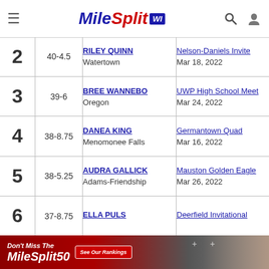MileSplit WI
| Rank | Mark | Athlete / School | Meet / Date |
| --- | --- | --- | --- |
| 2 | 40-4.5 | RILEY QUINN
Watertown | Nelson-Daniels Invite
Mar 18, 2022 |
| 3 | 39-6 | BREE WANNEBO
Oregon | UWP High School Meet
Mar 24, 2022 |
| 4 | 38-8.75 | DANEA KING
Menomonee Falls | Germantown Quad
Mar 16, 2022 |
| 5 | 38-5.25 | AUDRA GALLICK
Adams-Friendship | Mauston Golden Eagle
Mar 26, 2022 |
| 6 | 37-8.75 | ELLA PULS
 | Deerfield Invitational
 |
[Figure (infographic): MileSplit50 advertisement banner at bottom of page: 'Don't Miss The MileSplit50 - See Our Rankings' with athlete photo on right side]